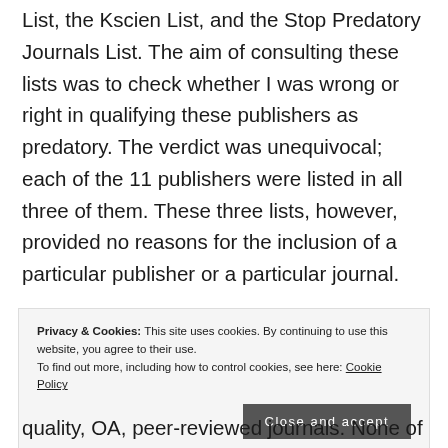up to date lists of predatory publishers: the Beall List, the Kscien List, and the Stop Predatory Journals List. The aim of consulting these lists was to check whether I was wrong or right in qualifying these publishers as predatory. The verdict was unequivocal; each of the 11 publishers were listed in all three of them. These three lists, however, provided no reasons for the inclusion of a particular publisher or a particular journal.
Privacy & Cookies: This site uses cookies. By continuing to use this website, you agree to their use. To find out more, including how to control cookies, see here: Cookie Policy
quality, OA, peer-reviewed journals. None of the 11